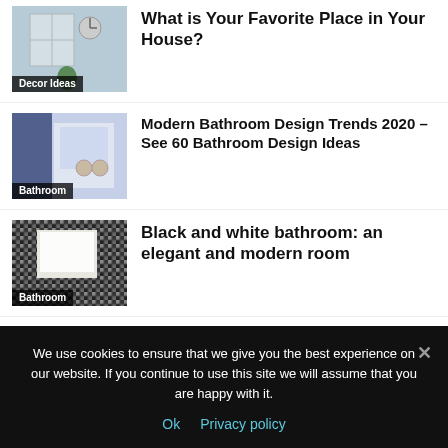[Figure (photo): Interior room photo with window and clock, labeled 'Decor Ideas']
What is Your Favorite Place in Your House?
[Figure (photo): Modern bathroom with blue panels, labeled 'Bathroom']
Modern Bathroom Design Trends 2020 – See 60 Bathroom Design Ideas
[Figure (photo): Black and white mosaic tile bathroom, labeled 'Bathroom']
Black and white bathroom: an elegant and modern room
[Figure (photo): Kitchen with central island and pendant lights]
Central kitchen island in 30 original ideas
We use cookies to ensure that we give you the best experience on our website. If you continue to use this site we will assume that you are happy with it.